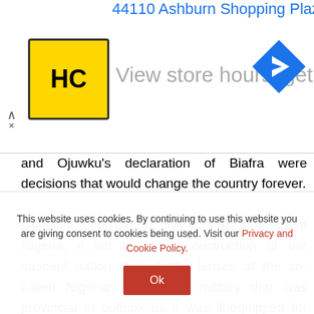[Figure (screenshot): Advertisement banner showing '44110 Ashburn Shopping Plaza 1.' address in blue, HC logo in yellow box, 'View store hours, get directions...' text in gray, and a blue navigation arrow icon. Close/collapse chevron on left side.]
and Ojuwku's declaration of Biafra were decisions that would change the country forever.
Gowon's action did not only alter the structure of Nigeria, it led to the reconstruction of the nascent nation through the lenses of the so-called Nigerian military; a military that was provincial in outlook as it was ill-equipped for leadership. The military centralized economic and political power and moved Nigeria from a federal republic to a unitary state. In many ways, we can conveniently say May 27, 1967, was the day Nigeria began to unravel and any attempt to understand the current crises and our
This website uses cookies. By continuing to use this website you are giving consent to cookies being used. Visit our Privacy and Cookie Policy.
Ok